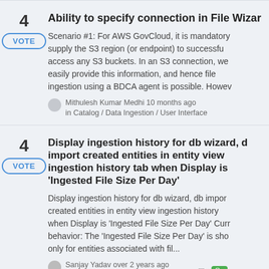Ability to specify connection in File Wizard
Scenario #1: For AWS GovCloud, it is mandatory supply the S3 region (or endpoint) to successfu access any S3 buckets. In an S3 connection, we easily provide this information, and hence file ingestion using a BDCA agent is possible. Howev
Mithulesh Kumar Medhi 10 months ago in Catalog / Data Ingestion / User Interface
Display ingestion history for db wizard, d import created entities in entity view ingestion history tab when Display is 'Ingested File Size Per Day'
Display ingestion history for db wizard, db impor created entities in entity view ingestion history when Display is 'Ingested File Size Per Day' Curr behavior: The 'Ingested File Size Per Day' is sho only for entities associated with fil...
Sanjay Yadav over 2 years ago in Catalog / Data Ingestion / Metadata